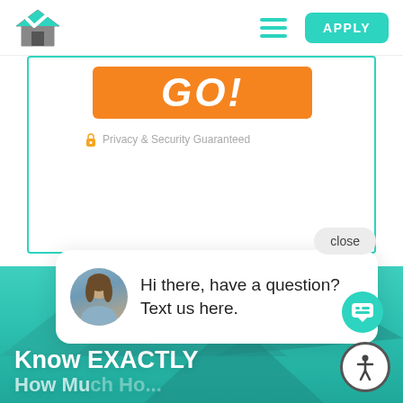[Figure (screenshot): Website navigation bar with a house-checkmark logo on the left, hamburger menu icon in teal, and a teal 'APPLY' button on the right]
[Figure (screenshot): Orange 'GO!' button inside a teal-bordered card]
Privacy & Security Guaranteed
close
Hi there, have a question? Text us here.
[Figure (screenshot): Bottom teal banner showing a house roof background with white bold text 'Know EXACTLY' and partially visible next line, plus a teal chat circle and white accessibility icon button]
Know EXACTLY